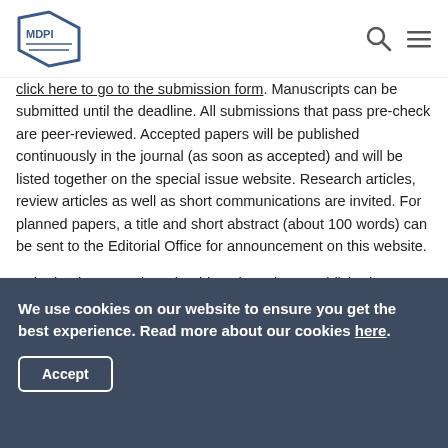MDPI
click here to go to the submission form. Manuscripts can be submitted until the deadline. All submissions that pass pre-check are peer-reviewed. Accepted papers will be published continuously in the journal (as soon as accepted) and will be listed together on the special issue website. Research articles, review articles as well as short communications are invited. For planned papers, a title and short abstract (about 100 words) can be sent to the Editorial Office for announcement on this website.
Submitted manuscripts should not have been published previously, nor be under consideration for publication elsewhere (except conference proceedings papers). All manuscripts are thoroughly refereed through a single-blind peer-review process. A guide for authors and other
We use cookies on our website to ensure you get the best experience. Read more about our cookies here.
Accept